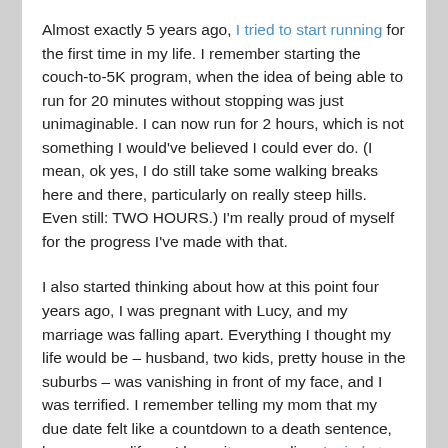Almost exactly 5 years ago, I tried to start running for the first time in my life. I remember starting the couch-to-5K program, when the idea of being able to run for 20 minutes without stopping was just unimaginable. I can now run for 2 hours, which is not something I would've believed I could ever do. (I mean, ok yes, I do still take some walking breaks here and there, particularly on really steep hills. Even still: TWO HOURS.) I'm really proud of myself for the progress I've made with that.
I also started thinking about how at this point four years ago, I was pregnant with Lucy, and my marriage was falling apart. Everything I thought my life would be – husband, two kids, pretty house in the suburbs – was vanishing in front of my face, and I was terrified. I remember telling my mom that my due date felt like a countdown to a death sentence, because my life as I knew it was ending. I cried at every OB appointment. I actually had to find a new doctor for all lady-parts related issues, because just walking in the door there, even two years later, gave me a lump in my throat and that horrible